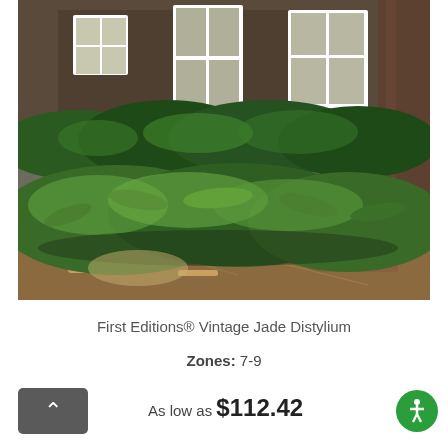[Figure (photo): Photograph of First Editions® Vintage Jade Distylium low-growing evergreen shrub planted in front of a house, with green foliage spreading along the ground and mulched bed, taller boxwood hedge behind, and the facade of a house with white-framed windows in the background.]
First Editions® Vintage Jade Distylium
Zones: 7-9
As low as $112.42